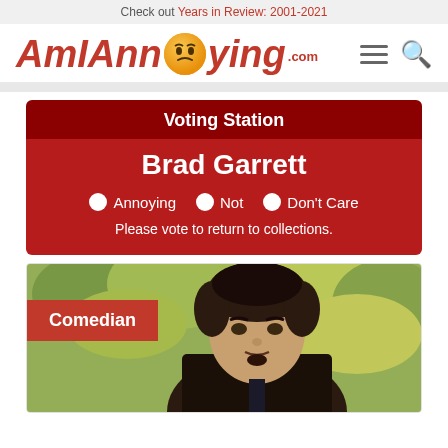Check out Years in Review: 2001-2021
[Figure (logo): AmIAnnoying.com logo with angry face emoji]
Voting Station
Brad Garrett
Annoying  Not  Don't Care
Please vote to return to collections.
[Figure (photo): Photo of Brad Garrett with Comedian label overlay]